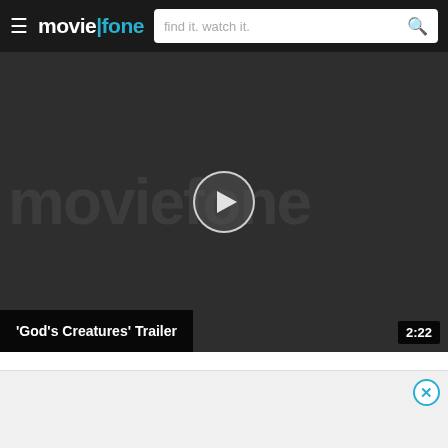moviefone — find it. watch it.
[Figure (screenshot): Moviefone video player showing 'God's Creatures' Trailer with a play button overlay, watermark logo in background, and duration 2:22 shown in bottom right corner.]
'God's Creatures' Trailer
[Figure (other): Light gray advertisement area with a cyan/teal close (X) button in the top right corner.]